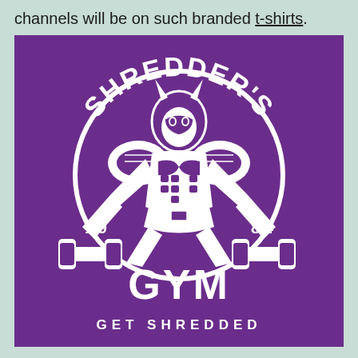channels will be on such branded t-shirts.
[Figure (illustration): Shredder's Gym logo on a purple background. A muscular armored villain (Shredder from TMNT) squatting with dumbbells. Text arched at top reads 'SHREDDER'S', '19' on the left and '84' on the right in the middle, large 'GYM' at the bottom, and 'GET SHREDDED' beneath that. All graphics in white on purple.]